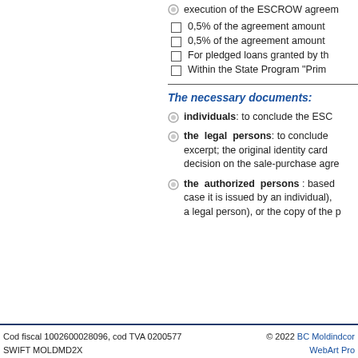execution of the ESCROW agreem
0,5% of the agreement amount
0,5% of the agreement amount
For pledged loans granted by th
Within the State Program "Prim
The necessary documents:
individuals: to conclude the ESC
the legal persons: to conclude excerpt; the original identity card decision on the sale-purchase agre
the authorized persons : based case it is issued by an individual), a legal person), or the copy of the p
Cod fiscal 1002600028096, cod TVA 0200577
SWIFT MOLDMD2X
© 2022 BC Moldindcor
WebArt Pro